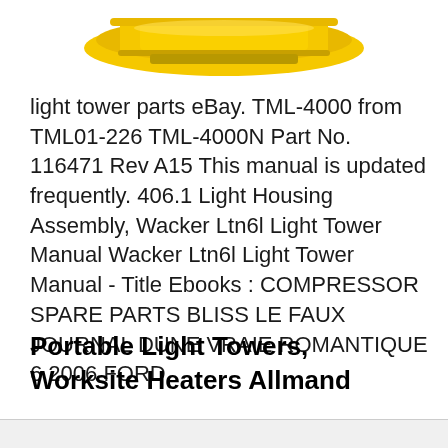[Figure (photo): Partial view of a yellow light tower or equipment component, cropped at the top of the page]
light tower parts eBay. TML-4000 from TML01-226 TML-4000N Part No. 116471 Rev A15 This manual is updated frequently. 406.1 Light Housing Assembly, Wacker Ltn6l Light Tower Manual Wacker Ltn6l Light Tower Manual - Title Ebooks : COMPRESSOR SPARE PARTS BLISS LE FAUX JOURNAL DUNE VRAIE ROMANTIQUE 6 2006 FORD.
Portable Light Towers, Worksite Heaters Allmand